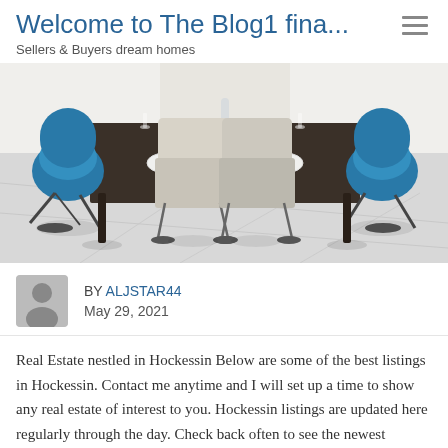Welcome to The Blog1 fina...
Sellers & Buyers dream homes
[Figure (photo): Modern dining room with a dark rectangular table, white/beige upholstered chairs, blue accent chairs, and a glass floor.]
BY ALJSTAR44
May 29, 2021
Real Estate nestled in Hockessin Below are some of the best listings in Hockessin. Contact me anytime and I will set up a time to show any real estate of interest to you. Hockessin listings are updated here regularly through the day. Check back often to see the newest listings